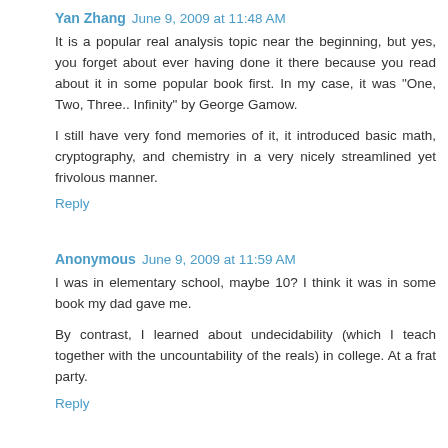Yan Zhang  June 9, 2009 at 11:48 AM
It is a popular real analysis topic near the beginning, but yes, you forget about ever having done it there because you read about it in some popular book first. In my case, it was "One, Two, Three.. Infinity" by George Gamow.
I still have very fond memories of it, it introduced basic math, cryptography, and chemistry in a very nicely streamlined yet frivolous manner.
Reply
Anonymous  June 9, 2009 at 11:59 AM
I was in elementary school, maybe 10? I think it was in some book my dad gave me.
By contrast, I learned about undecidability (which I teach together with the uncountability of the reals) in college. At a frat party.
Reply